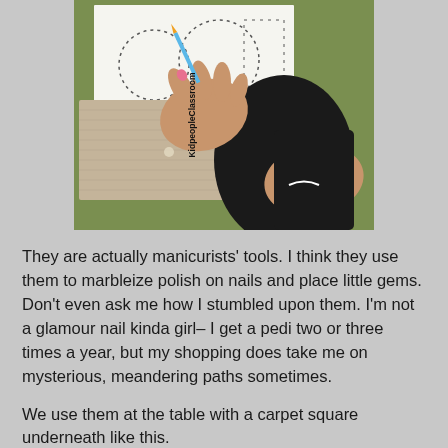[Figure (photo): Child's hands using a pencil or stylus tool to trace dotted letter outlines on a white worksheet, placed on a carpet square/felt mat on a green surface. Watermark reads 'KidpeopleClassroom' vertically on the left side.]
They are actually manicurists' tools. I think they use them to marbleize polish on nails and place little gems. Don't even ask me how I stumbled upon them. I'm not a glamour nail kinda girl– I get a pedi two or three times a year, but my shopping does take me on mysterious, meandering paths sometimes.
We use them at the table with a carpet square underneath like this.